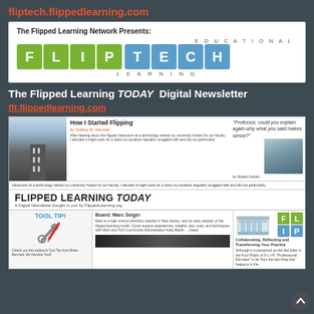fliptech.flippedlearning.com
[Figure (logo): Flipped Learning Network Flip Tech Educational Learning logo with green and blue letter tiles]
The Flipped Learning TODAY Digital Newsletter
flt.flippedlearning.com
[Figure (screenshot): Screenshot of the Flipped Learning TODAY digital newsletter showing articles 'How I Started Flipping', 'Professor could you explain again why what you said makes sense?', Flipped Learning Today banner, Tool Tip section, and Collaborating Reflecting and Transforming Your Practice section]